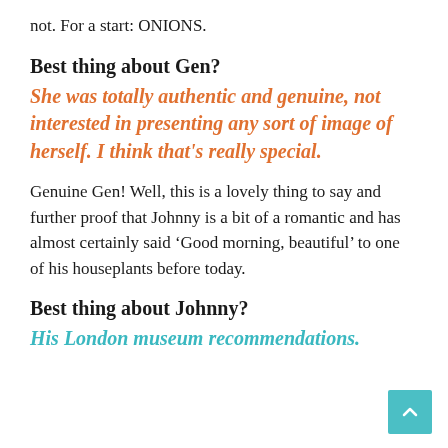not. For a start: ONIONS.
Best thing about Gen?
She was totally authentic and genuine, not interested in presenting any sort of image of herself. I think that's really special.
Genuine Gen! Well, this is a lovely thing to say and further proof that Johnny is a bit of a romantic and has almost certainly said ‘Good morning, beautiful’ to one of his houseplants before today.
Best thing about Johnny?
His London museum recommendations.